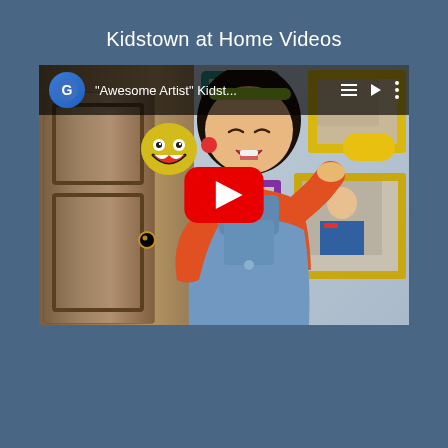Kidstown at Home Videos
[Figure (screenshot): YouTube video thumbnail showing a girl in overalls holding an emoji-face rock/ball, with colorful classroom wall decorations behind her. YouTube overlay shows title '"Awesome Artist" Kidst...' with a red play button centered on the image. A Google icon appears in the top-left corner of the video player.]